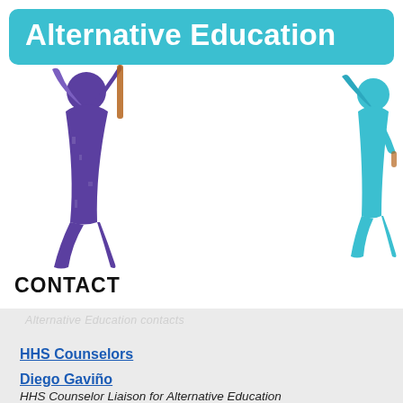Alternative Education
[Figure (illustration): Two silhouette figures holding up the Alternative Education banner. Left figure is purple/indigo, right figure is teal/cyan.]
CONTACT
HHS Counselors
Diego Gaviño
HHS Counselor Liaison for Alternative Education